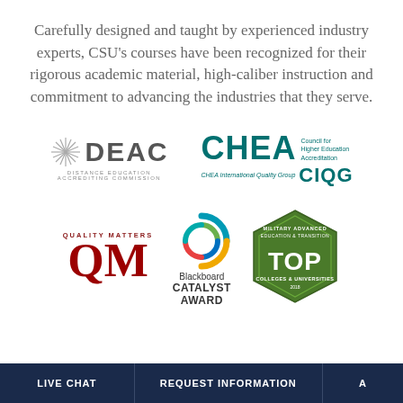Carefully designed and taught by experienced industry experts, CSU's courses have been recognized for their rigorous academic material, high-caliber instruction and commitment to advancing the industries that they serve.
[Figure (logo): DEAC Distance Education Accrediting Commission logo with asterisk/star symbol]
[Figure (logo): CHEA Council for Higher Education Accreditation and CHEA International Quality Group CIQG logo]
[Figure (logo): Quality Matters QM logo]
[Figure (logo): Blackboard Catalyst Award logo with colorful circle graphic]
[Figure (logo): Military Advanced Education & Transition TOP Colleges & Universities 2018 badge]
LIVE CHAT | REQUEST INFORMATION | A